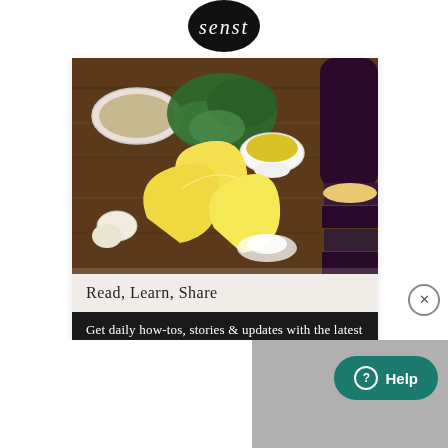[Figure (logo): Circular black logo with white handwritten/script text reading 'senst' or similar brand name]
[Figure (photo): Food photography on a wooden cutting board showing lemon wedges, fresh herbs (parsley), a small bowl of oil, spices in a white dish, salt, garlic, and sliced eggplant/aubergine]
Read, Learn, Share
Get daily how-tos, stories & updates with the latest news
Help